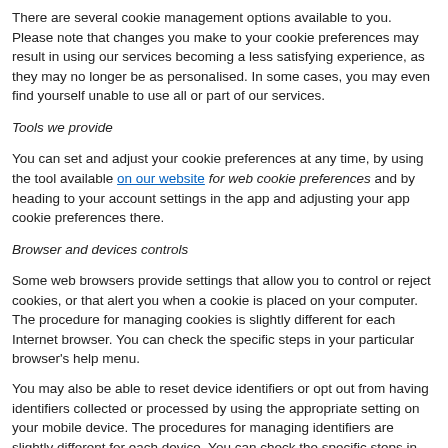There are several cookie management options available to you. Please note that changes you make to your cookie preferences may result in using our services becoming a less satisfying experience, as they may no longer be as personalised. In some cases, you may even find yourself unable to use all or part of our services.
Tools we provide
You can set and adjust your cookie preferences at any time, by using the tool available on our website for web cookie preferences and by heading to your account settings in the app and adjusting your app cookie preferences there.
Browser and devices controls
Some web browsers provide settings that allow you to control or reject cookies, or that alert you when a cookie is placed on your computer. The procedure for managing cookies is slightly different for each Internet browser. You can check the specific steps in your particular browser's help menu.
You may also be able to reset device identifiers or opt out from having identifiers collected or processed by using the appropriate setting on your mobile device. The procedures for managing identifiers are slightly different for each device. You can check the specific steps in the help or settings menu of your particular device.
Interest-based advertising tools
Advertising companies may participate in self-regulatory programmes that allow you to opt out of any interest-based ads involving them. For more information on